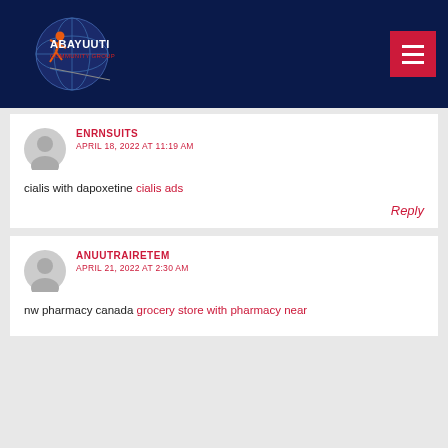[Figure (logo): Abayuuti Community Group logo with globe and figure graphic on dark navy header background]
ENRNSUITS
APRIL 18, 2022 AT 11:19 AM
cialis with dapoxetine cialis ads
Reply
ANUUTRAIRETEM
APRIL 21, 2022 AT 2:30 AM
nw pharmacy canada grocery store with pharmacy near